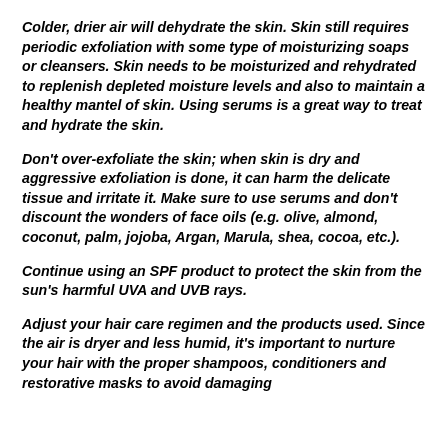Colder, drier air will dehydrate the skin.  Skin still requires periodic exfoliation with some type of moisturizing soaps or cleansers.  Skin needs to be moisturized and rehydrated to replenish depleted moisture levels and also to maintain a healthy mantel of skin.  Using serums is a great way to treat and hydrate the skin.
Don't over-exfoliate the skin; when skin is dry and aggressive exfoliation is done, it can harm the delicate tissue and irritate it.  Make sure to use serums and don't discount the wonders of face oils (e.g. olive, almond, coconut, palm, jojoba, Argan, Marula, shea, cocoa, etc.).
Continue using an SPF product to protect the skin from the sun's harmful UVA and UVB rays.
Adjust your hair care regimen and the products used.  Since the air is dryer and less humid, it's important to nurture your hair with the proper shampoos, conditioners and restorative masks to avoid damaging